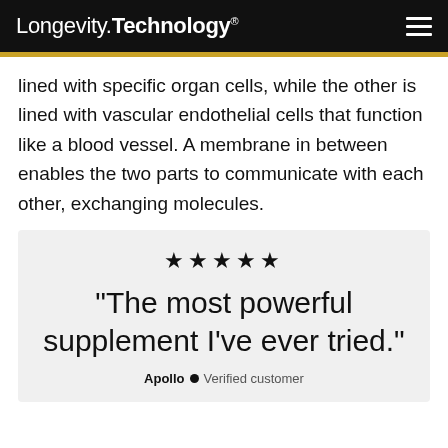Longevity.Technology®
lined with specific organ cells, while the other is lined with vascular endothelial cells that function like a blood vessel. A membrane in between enables the two parts to communicate with each other, exchanging molecules.
[Figure (other): Quote box with five stars and testimonial: “The most powerful supplement I’ve ever tried.” attributed to Apollo, Verified customer]